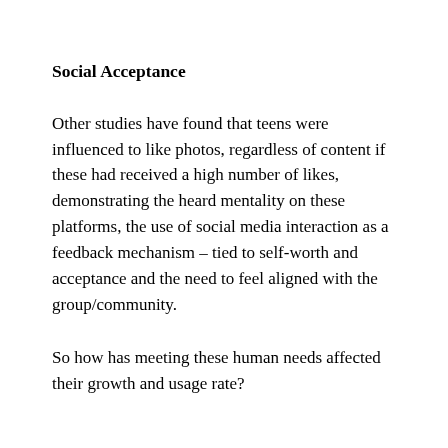Social Acceptance
Other studies have found that teens were influenced to like photos, regardless of content if these had received a high number of likes, demonstrating the heard mentality on these platforms, the use of social media interaction as a feedback mechanism – tied to self-worth and acceptance and the need to feel aligned with the group/community.
So how has meeting these human needs affected their growth and usage rate?